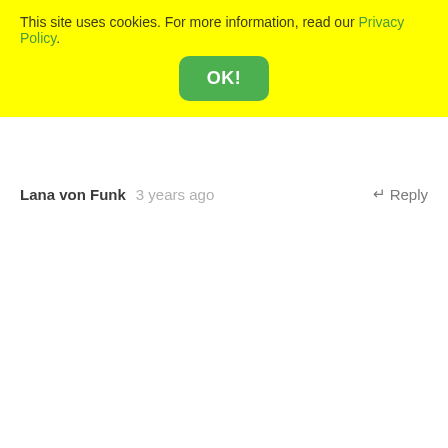This site uses cookies. For more information, read our Privacy Policy.
OK!
Lana von Funk  3 years ago  ↵ Reply